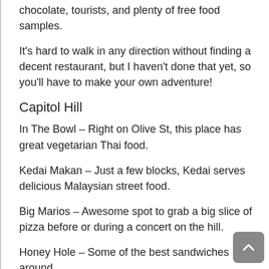chocolate, tourists, and plenty of free food samples.
It's hard to walk in any direction without finding a decent restaurant, but I haven't done that yet, so you'll have to make your own adventure!
Capitol Hill
In The Bowl – Right on Olive St, this place has great vegetarian Thai food.
Kedai Makan – Just a few blocks, Kedai serves delicious Malaysian street food.
Big Marios – Awesome spot to grab a big slice of pizza before or during a concert on the hill.
Honey Hole – Some of the best sandwiches around.
Fremont
Silence Heart Nest – Vegetarian diner open for breakfast and lunch.